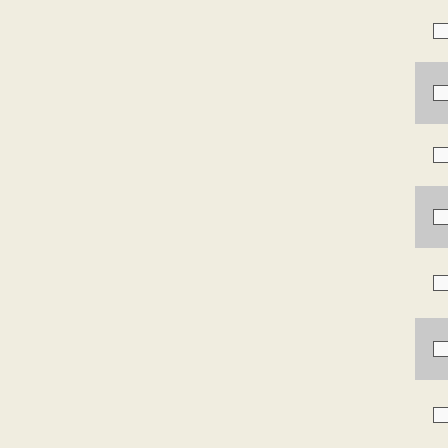|  | Accession | Gene | Description |
| --- | --- | --- | --- |
| ☐ | NC_009436 | Ent638_1805 | transcriptional regulator... |
| ☐ | NC_007005 | Psyr_3377 | regulatory protein, M... |
| ☐ | NC_011080 | SNSL254_A1554 | transcriptional regulator... |
| ☐ | NC_012880 | Dd703_1689 | transcriptional regulator... |
| ☐ | NC_011094 | SeSA_A1541 | transcriptional regulator... |
| ☐ | NC_011205 | SeD_A1899 | transcriptional regulator... |
| ☐ | NC_010557 | BamMC406_5772 | MarR family transcriptional regulator... |
| ☐ | NC_008392 | Bamb_6016 | MarR family transcriptional regulator... |